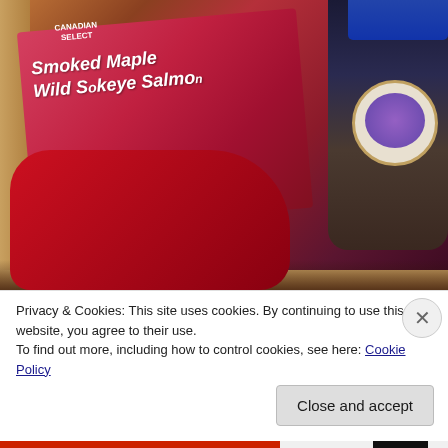[Figure (photo): A gift box containing a pink/red package of Smoked Maple Wild Sockeye Salmon (Canadian Select brand), a bottle of Crown Royal whisky, and red knitted mittens with a white maple leaf design, photographed from above.]
Privacy & Cookies: This site uses cookies. By continuing to use this website, you agree to their use.
To find out more, including how to control cookies, see here: Cookie Policy